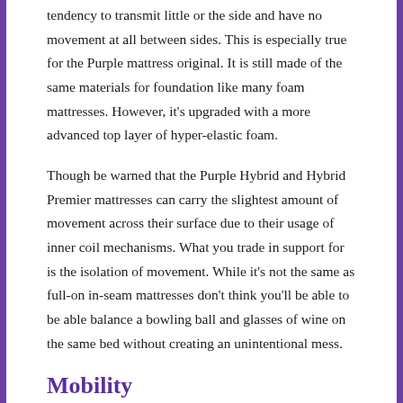tendency to transmit little or the side and have no movement at all between sides. This is especially true for the Purple mattress original. It is still made of the same materials for foundation like many foam mattresses. However, it's upgraded with a more advanced top layer of hyper-elastic foam.
Though be warned that the Purple Hybrid and Hybrid Premier mattresses can carry the slightest amount of movement across their surface due to their usage of inner coil mechanisms. What you trade in support for is the isolation of movement. While it's not the same as full-on in-seam mattresses don't think you'll be able to be able balance a bowling ball and glasses of wine on the same bed without creating an unintentional mess.
Mobility
As a result of the concepts of movement isolation and structure retention is the idea of mattress mobility. If a